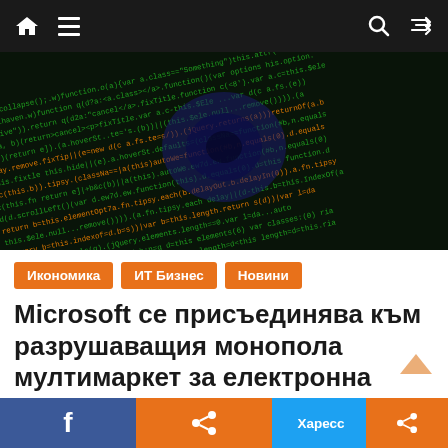Navigation bar with home, menu, search, shuffle icons
[Figure (photo): Dark background with green and orange code text (JavaScript/jQuery), showing programming code with a blue eye-like pattern in the center]
Икономика
ИТ Бизнес
Новини
Microsoft се присъединява към разрушаващия монопола мулти-маркет за електронна търговия в Индия
август 17, 2022  Индия днес  0
f  (share)  Харесс  (share)